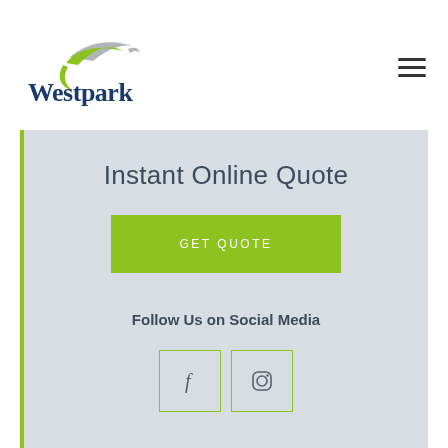[Figure (logo): Westpark logo with green and grey swoosh above dark blue text 'Westpark']
[Figure (other): Hamburger menu icon (three horizontal lines)]
Instant Online Quote
GET QUOTE
Follow Us on Social Media
[Figure (other): Facebook and Instagram social media icon boxes with yellow-green border]